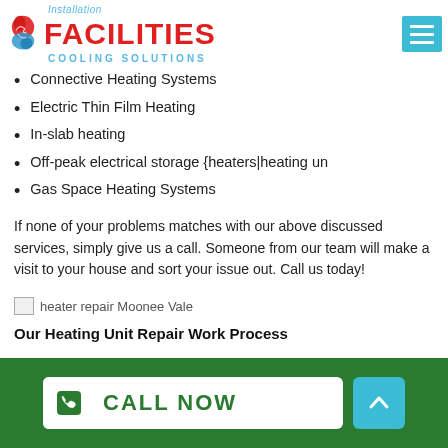Facilities Cooling Solutions - Installation
Connective Heating Systems
Electric Thin Film Heating
In-slab heating
Off-peak electrical storage {heaters|heating un
Gas Space Heating Systems
If none of your problems matches with our above discussed services, simply give us a call. Someone from our team will make a visit to your house and sort your issue out. Call us today!
[Figure (photo): Broken image placeholder with alt text 'heater repair Moonee Vale']
Our Heating Unit Repair Work Process
CALL NOW